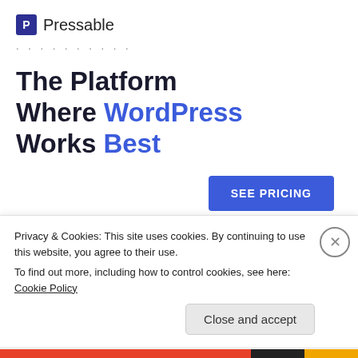[Figure (logo): Pressable logo with blue P icon and 'Pressable' text, followed by dotted separator line]
The Platform Where WordPress Works Best
SEE PRICING
REPORT THIS AD
Share this:
Privacy & Cookies: This site uses cookies. By continuing to use this website, you agree to their use.
To find out more, including how to control cookies, see here: Cookie Policy
Close and accept